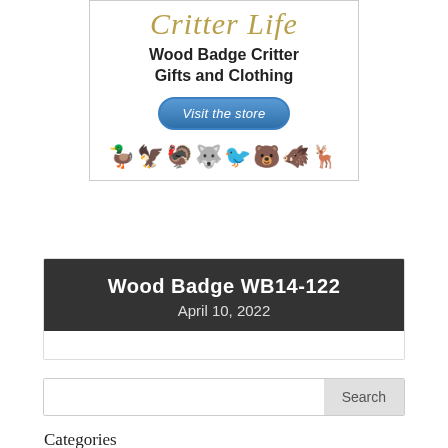[Figure (illustration): Critter Life advertisement box with cursive logo, bold text 'Wood Badge Critter Gifts and Clothing', a blue oval 'Visit the store' button, and a row of golden animal silhouettes]
Wood Badge WB14-122
April 10, 2022
Search
Categories